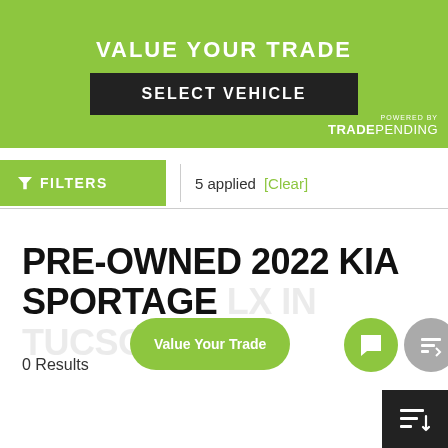[Figure (screenshot): Green banner with 'Value Your Trade' heading and 'Select Vehicle' button, powered by TradePending branding]
VALUE YOUR TRADE
SELECT VEHICLE
POWERED BY TRADEPENDING
FILTERS  |  5 applied [Clear]
PRE-OWNED 2022 KIA SPORTAGE LX IN TUCSON, AZ
0 Results
Value Your Trade